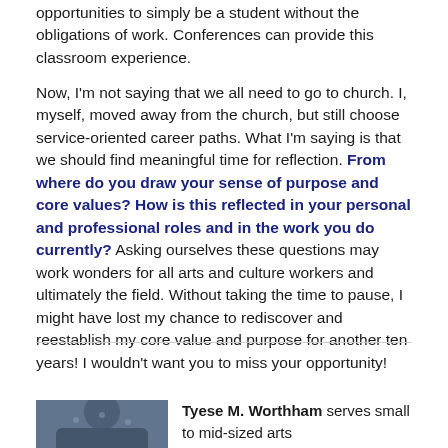opportunities to simply be a student without the obligations of work. Conferences can provide this classroom experience.
Now, I'm not saying that we all need to go to church. I, myself, moved away from the church, but still choose service-oriented career paths. What I'm saying is that we should find meaningful time for reflection. From where do you draw your sense of purpose and core values? How is this reflected in your personal and professional roles and in the work you do currently? Asking ourselves these questions may work wonders for all arts and culture workers and ultimately the field. Without taking the time to pause, I might have lost my chance to rediscover and reestablish my core value and purpose for another ten years! I wouldn't want you to miss your opportunity!
[Figure (photo): Photo of Tyese M. Worthham, partially visible at bottom of page, showing a person outdoors]
Tyese M. Worthham serves small to mid-sized arts